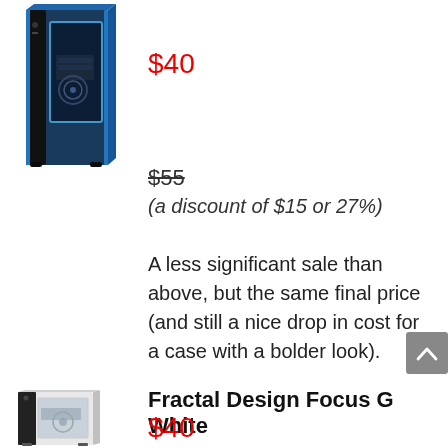[Figure (photo): Blue PC tower case with side window panel]
$40
$55
(a discount of $15 or 27%)
A less significant sale than above, but the same final price (and still a nice drop in cost for a case with a bolder look).
Fractal Design Focus G White
[Figure (photo): White PC tower case with side window panel]
$40